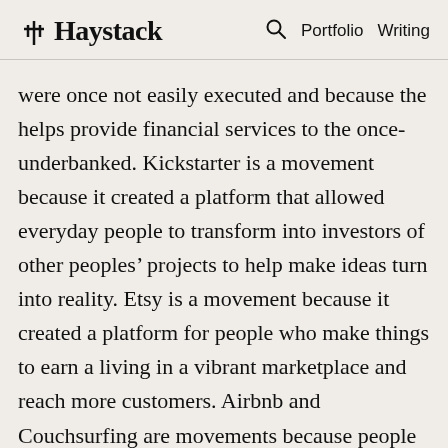Haystack | Portfolio Writing
were once not easily executed and because the helps provide financial services to the once-underbanked. Kickstarter is a movement because it created a platform that allowed everyday people to transform into investors of other peoples' projects to help make ideas turn into reality. Etsy is a movement because it created a platform for people who make things to earn a living in a vibrant marketplace and reach more customers. Airbnb and Couchsurfing are movements because people need extra income, people want to travel differently and make new friends, and consumers want more choice in their styles of travel. Facebook is a movement that started by connecting people 1:1; then Twitter became a movement connecting 4many; and then Snapchat